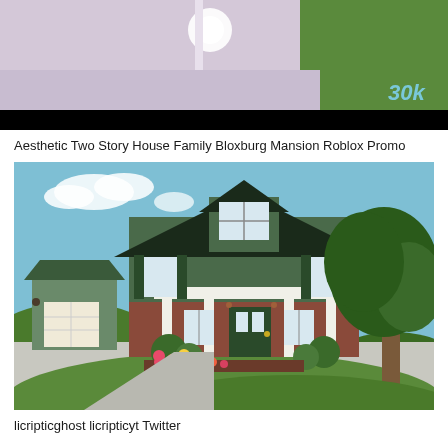[Figure (screenshot): Top portion of a Roblox Bloxburg game screenshot showing a light purple/gray surface with grass, a bright light orb, and '30k' text in cyan overlay in the bottom right corner. A black bar runs across the bottom of the image.]
Aesthetic Two Story House Family Bloxburg Mansion Roblox Promo
[Figure (screenshot): Roblox Bloxburg game screenshot showing a green two-story house with a dark roof, brick lower facade, white columns, green shutters, and a detached garage on the left. Landscaped with colorful flowers in the foreground and a large tree on the right. Blue sky in the background.]
licripticghost licripticyt Twitter